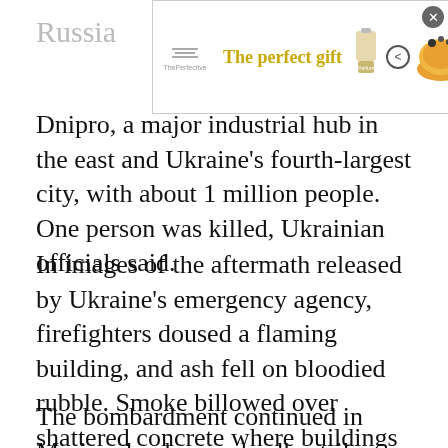[Figure (screenshot): Advertisement banner for 'The perfect gift' featuring a bowl of food, parfum bottle, navigation arrows, and a '35% OFF + FREE SHIPPING' promo badge in gold]
Russia… [partial title visible]
Dnipro, a major industrial hub in the east and Ukraine's fourth-largest city, with about 1 million people. One person was killed, Ukrainian officials said.
In images of the aftermath released by Ukraine's emergency agency, firefighters doused a flaming building, and ash fell on bloodied rubble. Smoke billowed over shattered concrete where buildings once stood.
The bombardment continued in Mariupol, where a deadly strike on a maternity hospital this week sparked international outrage and war-crime allegations.